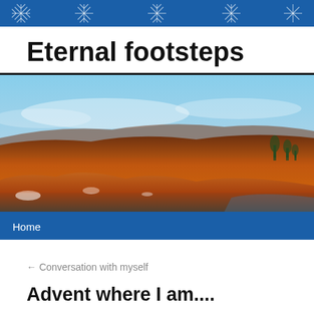[decorative snowflake/winter pattern banner]
Eternal footsteps
[Figure (photo): Wide landscape photograph of moorland with golden-orange heather/grass covering rolling hills under a pale blue sky with light clouds. Snow visible on rocks in foreground. Trees visible in far right background.]
Home
← Conversation with myself
Advent where I am....